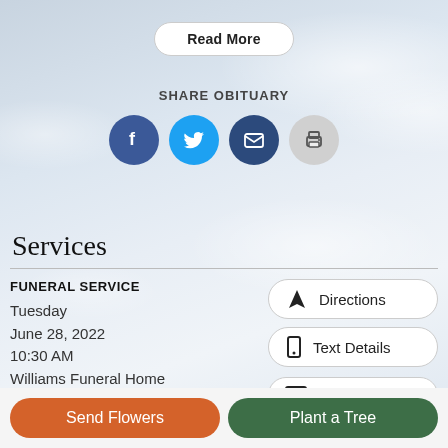Read More
SHARE OBITUARY
[Figure (infographic): Row of four social sharing icon circles: Facebook (dark blue, f), Twitter (light blue, bird), Email (dark blue, envelope), Print (gray, printer)]
Services
FUNERAL SERVICE
Tuesday
June 28, 2022
10:30 AM
Williams Funeral Home
241 West 4th Avenue
Directions
Text Details
Email Details
Send Flowers
Plant a Tree